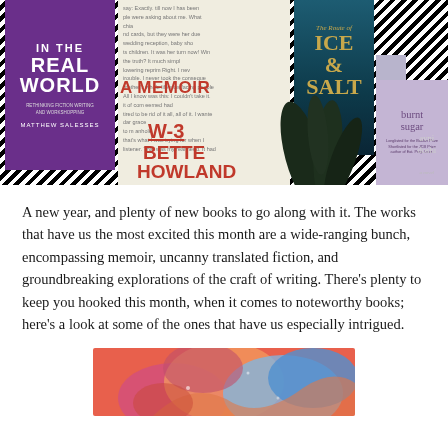[Figure (photo): Collage of book covers including 'In the Real World' by Matthew Salesses (purple cover), a memoir page with overlay text 'W-3' and 'BETTE HOWLAND' in red, 'The Route of Ice & Salt' (dark teal cover), 'burnt sugar' by avni doshi (lavender cover), dark plant/nature imagery, all set against a black and white zigzag stripe background.]
A new year, and plenty of new books to go along with it. The works that have us the most excited this month are a wide-ranging bunch, encompassing memoir, uncanny translated fiction, and groundbreaking explorations of the craft of writing. There’s plenty to keep you hooked this month, when it comes to noteworthy books; here’s a look at some of the ones that have us especially intrigued.
[Figure (illustration): Colorful illustrated image with coral red, pink, and blue abstract shapes suggesting a figure, partially visible at the bottom of the page.]